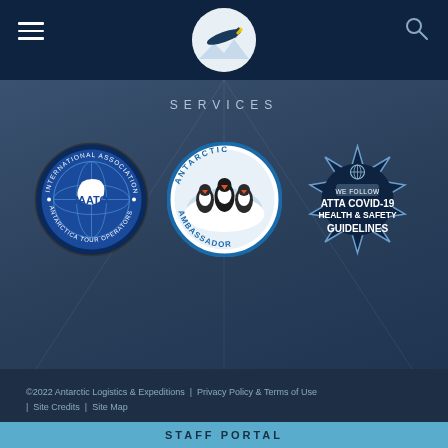[Figure (logo): Antarctic Logistics & Expeditions logo: a circular emblem with a penguin/aircraft motif on a dark navy header bar with hamburger menu left and search icon right]
SERVICES
[Figure (logo): IAATO - International Association of Antarctica Tour Operators circular badge with blue globe and Antarctica continent outline]
[Figure (logo): Antarctic Ambassador circular badge with penguins image in center]
[Figure (logo): ATTA COVID-19 Health & Safety Guidelines badge: dark navy star/compass shape with text WE FOLLOW ATTA COVID-19 HEALTH & SAFETY GUIDELINES]
©2022 Antarctic Logistics & Expeditions  |  Privacy Policy & Terms of Use  |  Site Credits  |  Site Map
STAFF PORTAL